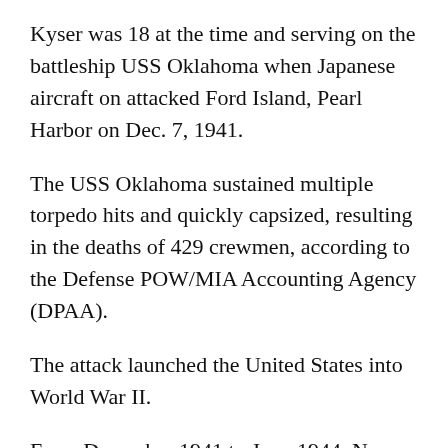Kyser was 18 at the time and serving on the battleship USS Oklahoma when Japanese aircraft on attacked Ford Island, Pearl Harbor on Dec. 7, 1941.
The USS Oklahoma sustained multiple torpedo hits and quickly capsized, resulting in the deaths of 429 crewmen, according to the Defense POW/MIA Accounting Agency (DPAA).
The attack launched the United States into World War II.
From December 1941 to June 1944, Navy personnel recovered the remains of the deceased crew.